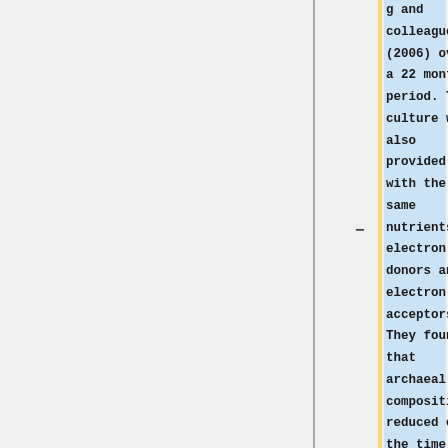g and colleagues (2006) over a 22 month period. The culture was also provided with the same nutrients, electron donors and electron acceptors. They found that archaeal composition reduced over the time period and